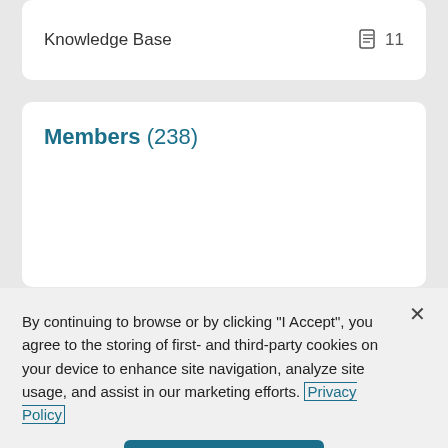Knowledge Base
11
Members (238)
By continuing to browse or by clicking "I Accept", you agree to the storing of first- and third-party cookies on your device to enhance site navigation, analyze site usage, and assist in our marketing efforts. Privacy Policy
I Accept
Cookies Settings
s170268